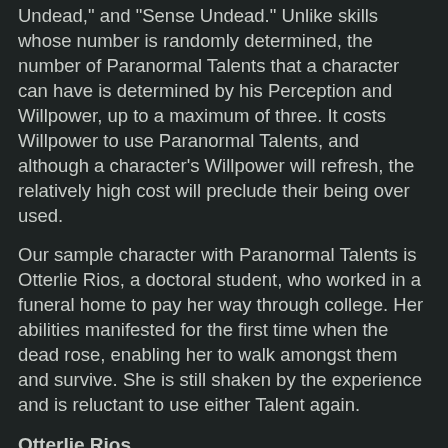Undead," and "Sense Undead." Unlike skills whose number is randomly determined, the number of Paranormal Talents that a character can have is determined by his Perception and Willpower, up to a maximum of three. It costs Willpower to use Paranormal Talents, and although a character's Willpower will refresh, the relatively high cost will preclude their being over used.
Our sample character with Paranormal Talents is Otterlie Rios, a doctoral student, who worked in a funeral home to pay her way through college. Her abilities manifested for the first time when the dead rose, enabling her to walk amongst them and survive. She is still shaken by the experience and is reluctant to use either Talent again.
Otterlie Rios
Strength 48 Dexterity 42 Agility 48 Personality 66
Willpower 72 Perception 80 Luck 66 Stamina 60
Unskilled Melee: 45
Penetration Bonus: None
Wounds: 14